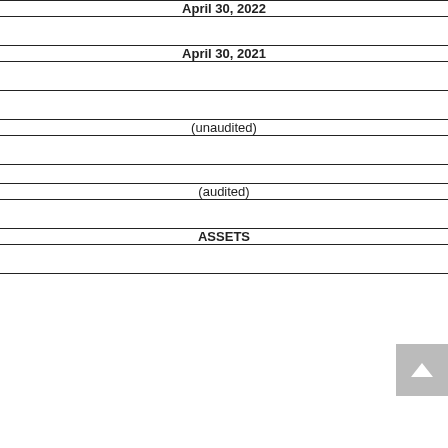| April 30, 2022 | April 30, 2021 |
| --- | --- |
|  | (unaudited) | (audited) |
| ASSETS |  |  |